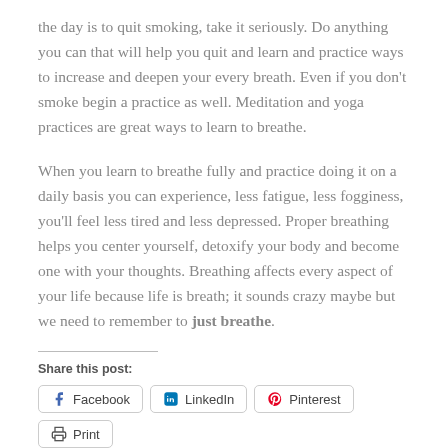the day is to quit smoking, take it seriously. Do anything you can that will help you quit and learn and practice ways to increase and deepen your every breath. Even if you don't smoke begin a practice as well. Meditation and yoga practices are great ways to learn to breathe.
When you learn to breathe fully and practice doing it on a daily basis you can experience, less fatigue, less fogginess, you'll feel less tired and less depressed. Proper breathing helps you center yourself, detoxify your body and become one with your thoughts. Breathing affects every aspect of your life because life is breath; it sounds crazy maybe but we need to remember to just breathe.
Share this post:
[Figure (other): Social share buttons: Facebook, LinkedIn, Pinterest, Print, Email, More]